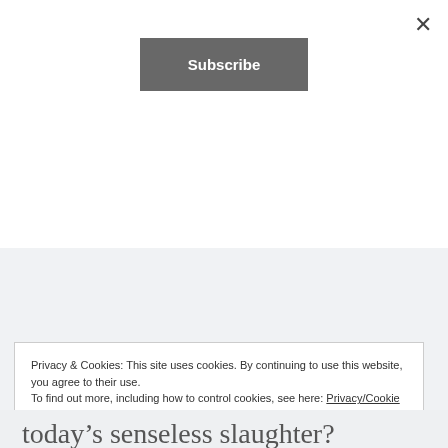[Figure (other): Subscribe button UI element in a dark grey rounded rectangle]
to take his life. Frustrated with the evil that threatened from every side, exhausted by the cares of this world, he lamented, “They threaten us with death. They would do better to threaten us with life.”
Privacy & Cookies: This site uses cookies. By continuing to use this website, you agree to their use.
To find out more, including how to control cookies, see here: Privacy/Cookie Policy
today’s senseless slaughter?